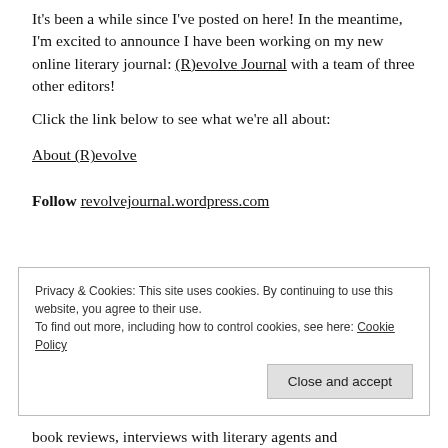It's been a while since I've posted on here! In the meantime, I'm excited to announce I have been working on my new online literary journal: (R)evolve Journal with a team of three other editors!
Click the link below to see what we're all about:
About (R)evolve
Follow revolvejournal.wordpress.com
Privacy & Cookies: This site uses cookies. By continuing to use this website, you agree to their use.
To find out more, including how to control cookies, see here: Cookie Policy
Close and accept
book reviews, interviews with literary agents and